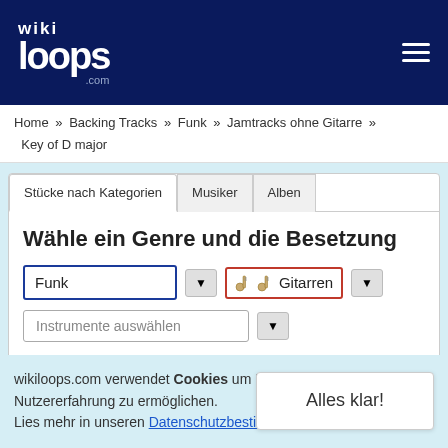[Figure (logo): wikiloops.com logo in white on dark navy header]
wikiloops.com
Home » Backing Tracks » Funk » Jamtracks ohne Gitarre » Key of D major
Wähle ein Genre und die Besetzung
Funk [dropdown]
[guitar icons] Gitarren [dropdown]
Instrumente auswählen [dropdown]
Filter nach Tonart, Harmonie und Tempo:
wikiloops.com verwendet Cookies um Dir die beste Nutzererfahrung zu ermöglichen. Lies mehr in unseren Datenschutzbestimmungen .
Alles klar!